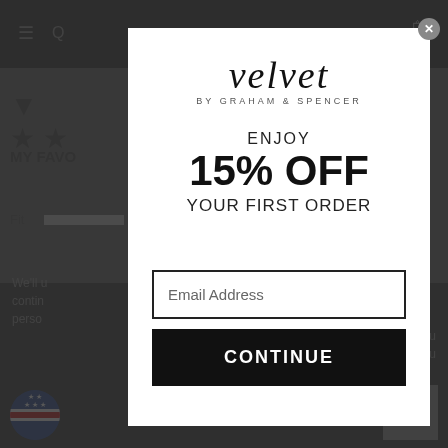[Figure (screenshot): Background website page with dark overlay showing a product review page for Velvet clothing brand]
[Figure (screenshot): Modal popup overlay for email signup offering 15% off first order]
velvet BY GRAHAM & SPENCER
ENJOY
15% OFF
YOUR FIRST ORDER
Email Address
CONTINUE